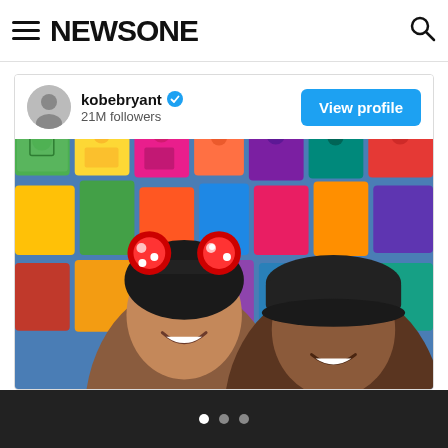NEWSONE (navigation bar with hamburger menu and search icon)
[Figure (screenshot): Instagram embed card showing kobebryant account with blue verified checkmark, 21M followers, View profile button, and a photo of a young girl wearing Minnie Mouse ears and a man smiling, posed in front of colorful papel picado banners backdrop]
Slideshow dots navigation indicator (3 dots)